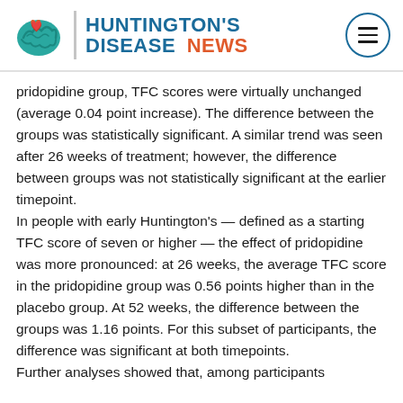HUNTINGTON'S DISEASE NEWS
pridopidine group, TFC scores were virtually unchanged (average 0.04 point increase). The difference between the groups was statistically significant. A similar trend was seen after 26 weeks of treatment; however, the difference between groups was not statistically significant at the earlier timepoint.
In people with early Huntington's — defined as a starting TFC score of seven or higher — the effect of pridopidine was more pronounced: at 26 weeks, the average TFC score in the pridopidine group was 0.56 points higher than in the placebo group. At 52 weeks, the difference between the groups was 1.16 points. For this subset of participants, the difference was significant at both timepoints.
Further analyses showed that, among participants